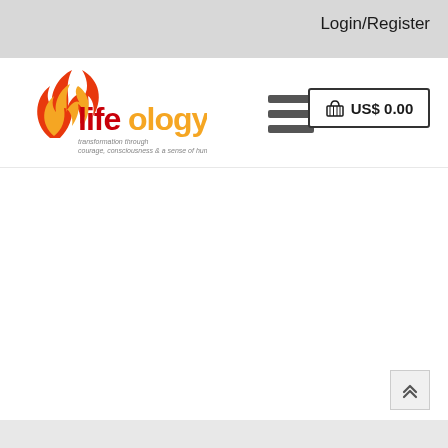Login/Register
[Figure (logo): Lifeology logo with flame icon and tagline: transformation through courage, consciousness & a sense of humour]
[Figure (other): Hamburger menu icon (three horizontal bars)]
🛒 US$ 0.00
[Figure (other): Scroll-to-top button with double up arrow chevron]